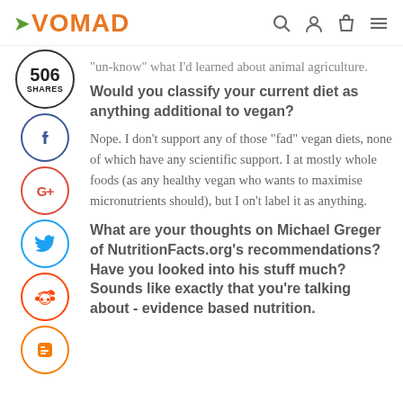VOMAD
“un-know” what I’d learned about animal agriculture.
Would you classify your current diet as anything additional to vegan?
Nope. I don’t support any of those “fad” vegan diets, none of which have any scientific support. I at mostly whole foods (as any healthy vegan who wants to maximise micronutrients should), but I on’t label it as anything.
What are your thoughts on Michael Greger of NutritionFacts.org’s recommendations? Have you looked into his stuff much? Sounds like exactly that you’re talking about - evidence based nutrition.